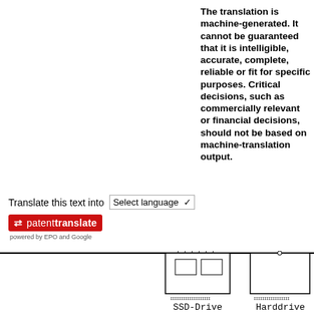The translation is machine-generated. It cannot be guaranteed that it is intelligible, accurate, complete, reliable or fit for specific purposes. Critical decisions, such as commercially relevant or financial decisions, should not be based on machine-translation output.
Translate this text into
[Figure (screenshot): Patent Translate widget with language selector dropdown and patent translate badge powered by EPO and Google]
[Figure (engineering-diagram): Engineering diagram showing Flash-Memory chip symbols: SSD-Drive and Harddrive IC package icons with pin legs]